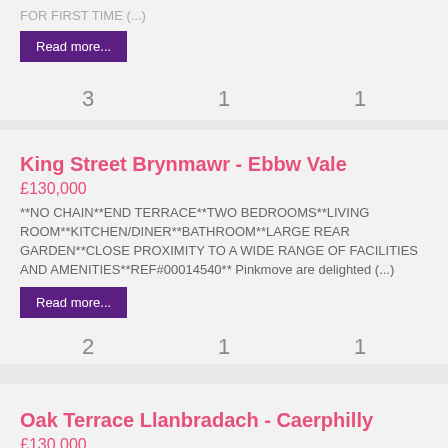FOR FIRST TIME (...)
Read more...
3   1   1
King Street Brynmawr - Ebbw Vale
£130,000
**NO CHAIN**END TERRACE**TWO BEDROOMS**LIVING ROOM**KITCHEN/DINER**BATHROOM**LARGE REAR GARDEN**CLOSE PROXIMITY TO A WIDE RANGE OF FACILITIES AND AMENITIES**REF#00014540** Pinkmove are delighted (...)
Read more...
2   1   1
Oak Terrace Llanbradach - Caerphilly
£130,000
*REDUCED NOW Guide Price £130,000 TO £140,000* *END